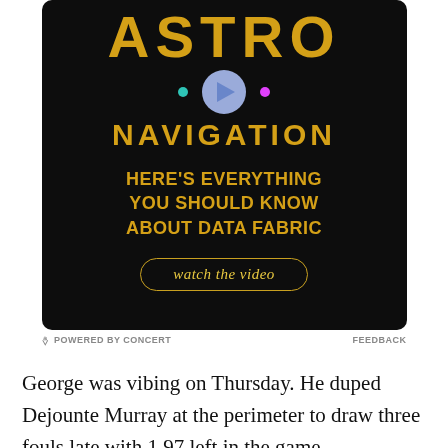[Figure (illustration): Advertisement banner with dark background showing 'ASTRO NAVIGATION' text in gold/yellow, a play button icon, colored dots, subtitle 'HERE'S EVERYTHING YOU SHOULD KNOW ABOUT DATA FABRIC', and a 'watch the video' button.]
POWERED BY CONCERT   FEEDBACK
George was vibing on Thursday. He duped Dejounte Murray at the perimeter to draw three fouls late with 1.97 left in the game...